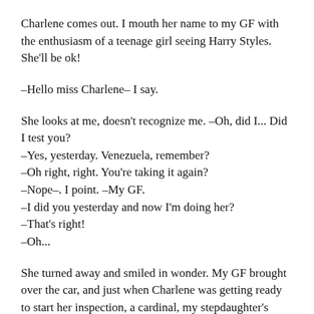Charlene comes out. I mouth her name to my GF with the enthusiasm of a teenage girl seeing Harry Styles. She'll be ok!
–Hello miss Charlene– I say.
She looks at me, doesn't recognize me. –Oh, did I... Did I test you?
–Yes, yesterday. Venezuela, remember?
–Oh right, right. You're taking it again?
–Nope–. I point. –My GF.
–I did you yesterday and now I'm doing her?
–That's right!
–Oh...
She turned away and smiled in wonder. My GF brought over the car, and just when Charlene was getting ready to start her inspection, a cardinal, my stepdaughter's favorite bird, landed in the bush